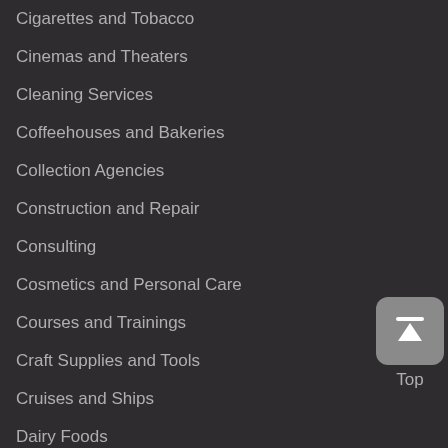Cigarettes and Tobacco
Cinemas and Theaters
Cleaning Services
Coffeehouses and Bakeries
Collection Agencies
Construction and Repair
Consulting
Cosmetics and Personal Care
Courses and Trainings
Craft Supplies and Tools
Cruises and Ships
Dairy Foods
Dating and Social Networking
Dealers
Decks, Fencing and Gates
Dentistry
[Figure (other): Back to top button with upward arrow icon and label 'Top']